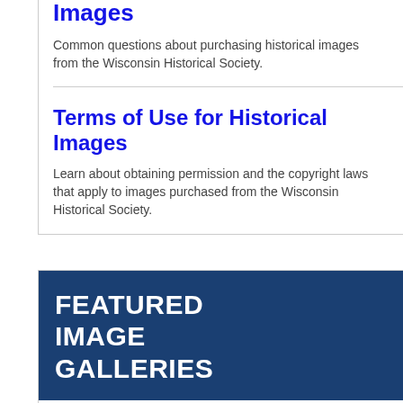Images
Common questions about purchasing historical images from the Wisconsin Historical Society.
Terms of Use for Historical Images
Learn about obtaining permission and the copyright laws that apply to images purchased from the Wisconsin Historical Society.
[Figure (other): Featured Image Galleries banner with dark blue background and white uppercase text]
William Donohue Teenie